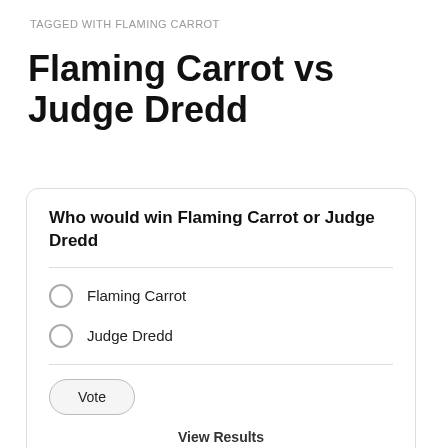TAGGED WITH FLAMING CARROT
Flaming Carrot vs Judge Dredd
Who would win Flaming Carrot or Judge Dredd
Flaming Carrot
Judge Dredd
Vote
View Results
Crowdsignal.com